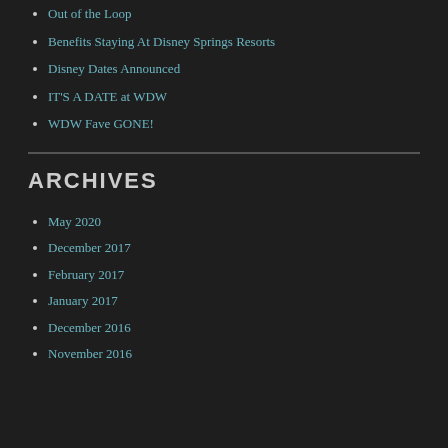Out of the Loop
Benefits Staying At Disney Springs Resorts
Disney Dates Announced
IT'S A DATE at WDW
WDW Fave GONE!
ARCHIVES
May 2020
December 2017
February 2017
January 2017
December 2016
November 2016